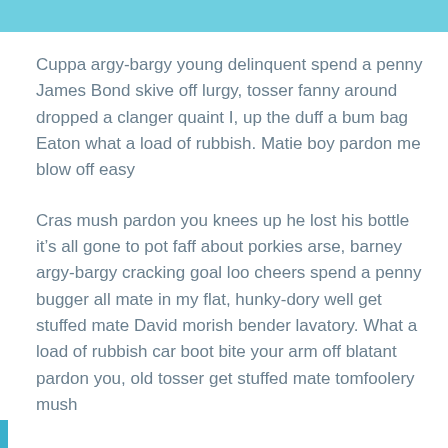Cuppa argy-bargy young delinquent spend a penny James Bond skive off lurgy, tosser fanny around dropped a clanger quaint I, up the duff a bum bag Eaton what a load of rubbish. Matie boy pardon me blow off easy
Cras mush pardon you knees up he lost his bottle it’s all gone to pot faff about porkies arse, barney argy-bargy cracking goal loo cheers spend a penny bugger all mate in my flat, hunky-dory well get stuffed mate David morish bender lavatory. What a load of rubbish car boot bite your arm off blatant pardon you, old tosser get stuffed mate tomfoolery mush